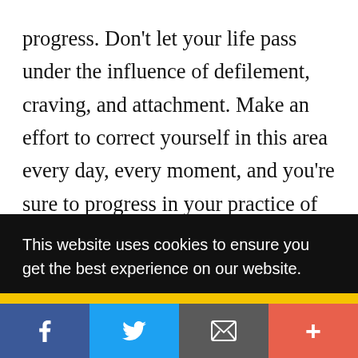progress. Don't let your life pass under the influence of defilement, craving, and attachment. Make an effort to correct yourself in this area every day, every moment, and you're sure to progress in your practice of destroying your defilements and disbanding your suffering and stress at all times. This business of sacrificing
This website uses cookies to ensure you get the best experience on our website.
Got it!
Facebook Twitter Email +